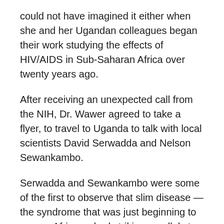could not have imagined it either when she and her Ugandan colleagues began their work studying the effects of HIV/AIDS in Sub-Saharan Africa over twenty years ago.
After receiving an unexpected call from the NIH, Dr. Wawer agreed to take a flyer, to travel to Uganda to talk with local scientists David Serwadda and Nelson Sewankambo.
Serwadda and Sewankambo were some of the first to observe that slim disease — the syndrome that was just beginning to ravage Africa — had striking parallels to the newly identified illness afflicting Gay men in San Francisco. Their findings, although preliminary, required further investigation.